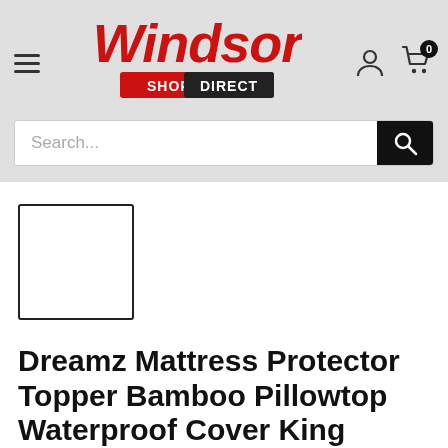[Figure (logo): Windsor Shop Direct logo in red cursive with 'SHOP DIRECT' tagline]
Search...
[Figure (photo): Small product thumbnail image placeholder (empty white square with border)]
Dreamz Mattress Protector Topper Bamboo Pillowtop Waterproof Cover King Single
SKU: MP1008-KS